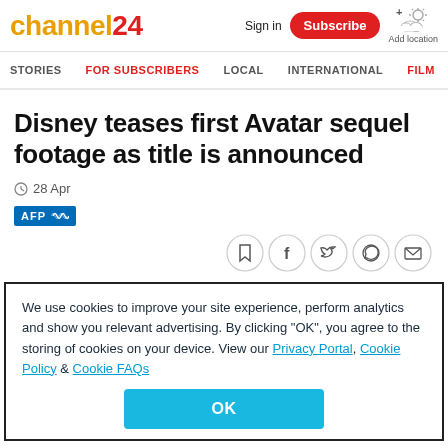channel24
Sign in  Subscribe  Add location
STORIES  FOR SUBSCRIBERS  LOCAL  INTERNATIONAL  FILM
Disney teases first Avatar sequel footage as title is announced
28 Apr
[Figure (logo): AFP logo badge in blue]
[Figure (infographic): Social sharing icons: bookmark, Facebook, Twitter, WhatsApp, email]
We use cookies to improve your site experience, perform analytics and show you relevant advertising. By clicking "OK", you agree to the storing of cookies on your device. View our Privacy Portal, Cookie Policy & Cookie FAQs
OK